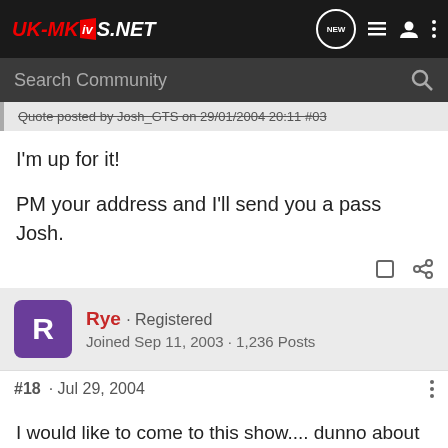UK-MKivS.NET
Search Community
Quote posted by Josh_GTS on 29/01/2004 20:11 #03
I'm up for it!

PM your address and I'll send you a pass Josh.
Rye · Registered
Joined Sep 11, 2003 · 1,236 Posts
#18 · Jul 29, 2004
I would like to come to this show.... dunno about going on the stand since I kerbed my alloy [😐]